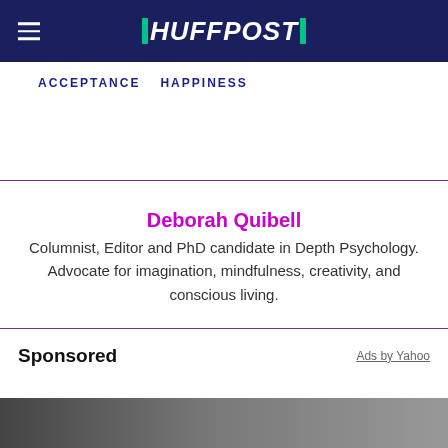HUFFPOST
ACCEPTANCE   HAPPINESS
Deborah Quibell
Columnist, Editor and PhD candidate in Depth Psychology. Advocate for imagination, mindfulness, creativity, and conscious living.
Sponsored
Ads by Yahoo
[Figure (photo): Bottom image strip, partially visible photo]